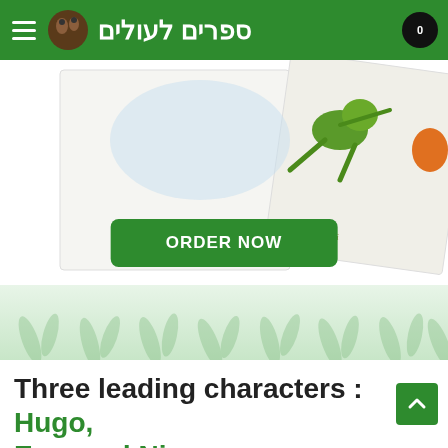ספרים לעולים
[Figure (photo): Children's book cover showing illustrated frogs/characters with author names Voella Bentalila and Marina Mogilevski]
ORDER NOW
[Figure (illustration): Decorative green grass and leaf pattern background strip]
Three leading characters : Hugo, Emy and Nina